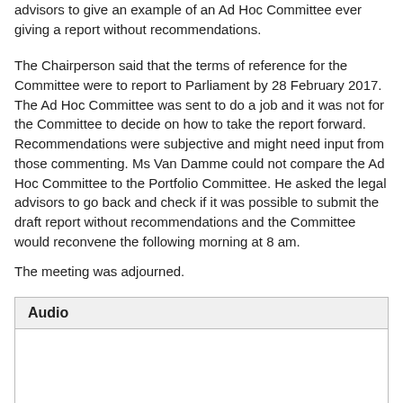advisors to give an example of an Ad Hoc Committee ever giving a report without recommendations.
The Chairperson said that the terms of reference for the Committee were to report to Parliament by 28 February 2017. The Ad Hoc Committee was sent to do a job and it was not for the Committee to decide on how to take the report forward. Recommendations were subjective and might need input from those commenting. Ms Van Damme could not compare the Ad Hoc Committee to the Portfolio Committee. He asked the legal advisors to go back and check if it was possible to submit the draft report without recommendations and the Committee would reconvene the following morning at 8 am.
The meeting was adjourned.
| Audio |
| --- |
|  |